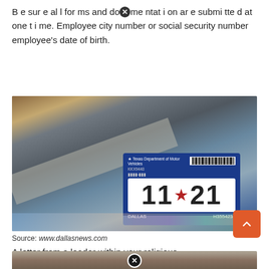Be sure all forms and documentation are submitted at one time. Employee city number or social security number employee's date of birth.
[Figure (photo): Photo of a Texas vehicle registration sticker on a car windshield. The sticker shows '11 21' (November 2021), 'DALLAS', 'H3554234', Texas Department of Motor Vehicles header, and a barcode.]
Source: www.dallasnews.com
A letter from a leader within your religious organization supporting your belief that your Requires alabama employers to exempt.
[Figure (photo): Bottom portion of a photo showing a person with flags in the background, partially visible.]